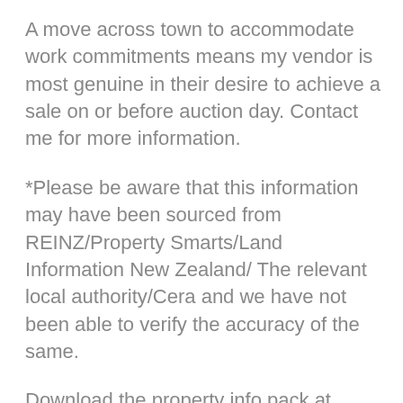A move across town to accommodate work commitments means my vendor is most genuine in their desire to achieve a sale on or before auction day. Contact me for more information.
*Please be aware that this information may have been sourced from REINZ/Property Smarts/Land Information New Zealand/ The relevant local authority/Cera and we have not been able to verify the accuracy of the same.
Download the property info pack at www.aaronpero.com/theterrace (copy and paste the link into your browser)